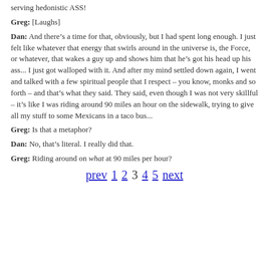serving hedonistic ASS!
Greg: [Laughs]
Dan: And there’s a time for that, obviously, but I had spent long enough. I just felt like whatever that energy that swirls around in the universe is, the Force, or whatever, that wakes a guy up and shows him that he’s got his head up his ass... I just got walloped with it. And after my mind settled down again, I went and talked with a few spiritual people that I respect – you know, monks and so forth – and that’s what they said. They said, even though I was not very skillful – it’s like I was riding around 90 miles an hour on the sidewalk, trying to give all my stuff to some Mexicans in a taco bus...
Greg: Is that a metaphor?
Dan: No, that’s literal. I really did that.
Greg: Riding around on what at 90 miles per hour?
prev 1 2 3 4 5 next